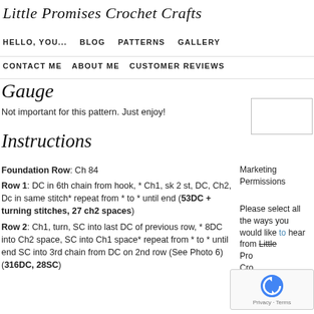Little Promises Crochet Crafts
HELLO, YOU…   BLOG   PATTERNS   GALLERY
CONTACT ME   ABOUT ME   CUSTOMER REVIEWS
Gauge
Not important for this pattern. Just enjoy!
Instructions
Foundation Row: Ch 84
Row 1: DC in 6th chain from hook, * Ch1, sk 2 st, DC, Ch2, Dc in same stitch* repeat from * to * until end (53DC + turning stitches, 27 ch2 spaces)
Row 2: Ch1, turn, SC into last DC of previous row, * 8DC into Ch2 space, SC into Ch1 space* repeat from * to * until end SC into 3rd chain from DC on 2nd row (See Photo 6)(316DC, 28SC)
Marketing Permissions
Please select all the ways you would like to hear from Little Promises Crochet Crafts